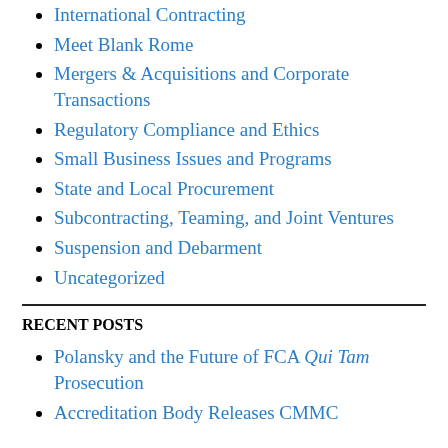International Contracting
Meet Blank Rome
Mergers & Acquisitions and Corporate Transactions
Regulatory Compliance and Ethics
Small Business Issues and Programs
State and Local Procurement
Subcontracting, Teaming, and Joint Ventures
Suspension and Debarment
Uncategorized
RECENT POSTS
Polansky and the Future of FCA Qui Tam Prosecution
Accreditation Body Releases CMMC